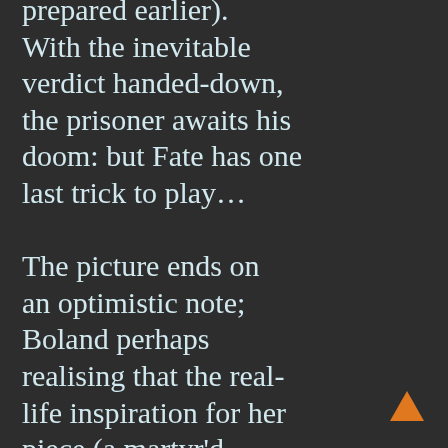prepared earlier). With the inevitable verdict handed-down, the prisoner awaits his doom: but Fate has one last trick to play… The picture ends on an optimistic note; Boland perhaps realising that the real-life inspiration for her piece (a martyr'd Cardinal in post-war Hungary) had been physically abused by his own jailers to elicit confession; a savage
[Figure (other): Orange upward-pointing arrow navigation icon in bottom-right corner]